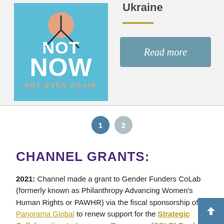[Figure (illustration): Poster image on teal/blue background showing text 'NOT NOW NOT EVER AGAIN' in white bold letters with a pink circle and pencil/arrow graphic element]
Ukraine
Read more
1  2  (pagination dots)
CHANNEL GRANTS:
2021: Channel made a grant to Gender Funders CoLab (formerly known as Philanthropy Advancing Women's Human Rights or PAWHR) via the fiscal sponsorship of Panorama Global to renew support for the Strategic Collaboration to Leverage Resources (SCLR) Pooled Fund, a technical assistance fund created to support women's rights organizations' ability to apply for and manage large